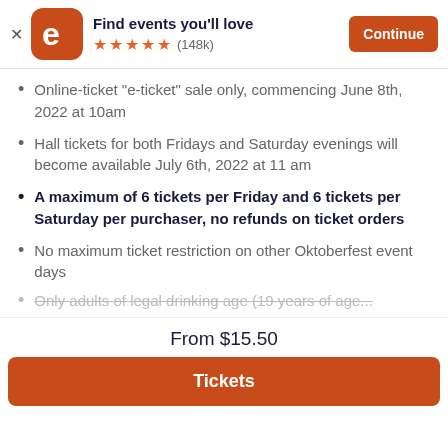Find events you'll love ★★★★★ (148k) Continue
Online-ticket "e-ticket" sale only, commencing June 8th, 2022 at 10am
Hall tickets for both Fridays and Saturday evenings will become available July 6th, 2022 at 11 am
A maximum of 6 tickets per Friday and 6 tickets per Saturday per purchaser, no refunds on ticket orders
No maximum ticket restriction on other Oktoberfest event days
Only adults of legal drinking age (19 years of age...
From $15.50
Tickets